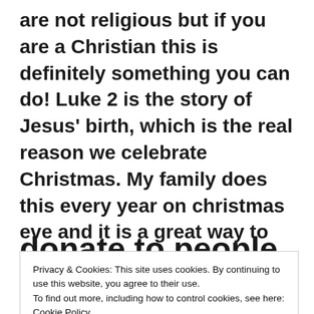are not religious but if you are a Christian this is definitely something you can do! Luke 2 is the story of Jesus' birth, which is the real reason we celebrate Christmas. My family does this every year on christmas eve and it is a great way to remember the true reason for the season ❤
donate to people in need
Privacy & Cookies: This site uses cookies. By continuing to use this website, you agree to their use.
To find out more, including how to control cookies, see here: Cookie Policy
[Close and accept]